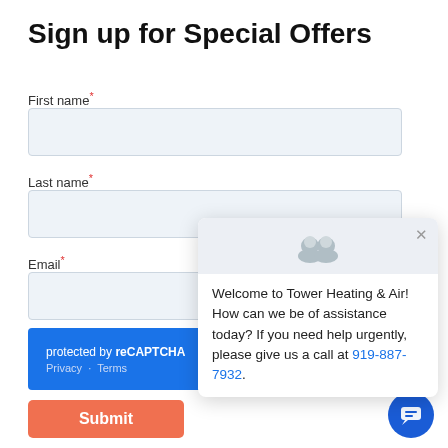Sign up for Special Offers
First name*
Last name*
Email*
protected by reCAPTCHA
Privacy · Terms
Welcome to Tower Heating & Air! How can we be of assistance today? If you need help urgently, please give us a call at 919-887-7932.
Submit